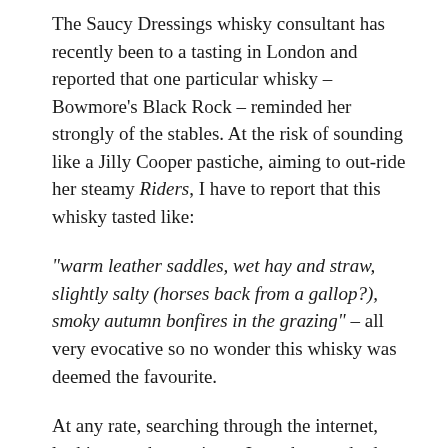The Saucy Dressings whisky consultant has recently been to a tasting in London and reported that one particular whisky – Bowmore's Black Rock – reminded her strongly of the stables. At the risk of sounding like a Jilly Cooper pastiche, aiming to out-ride her steamy Riders, I have to report that this whisky tasted like:
“warm leather saddles, wet hay and straw, slightly salty (horses back from a gallop?), smoky autumn bonfires in the grazing” – all very evocative so no wonder this whisky was deemed the favourite.
At any rate, searching through the internet, looking at other reviews, I see the standard comments go ‘raisins’ ‘figs’ ‘peat’ ‘smoke’